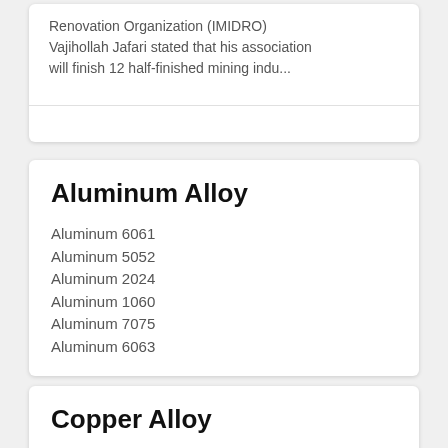Renovation Organization (IMIDRO) Vajihollah Jafari stated that his association will finish 12 half-finished mining indu...
Aluminum Alloy
Aluminum 6061
Aluminum 5052
Aluminum 2024
Aluminum 1060
Aluminum 7075
Aluminum 6063
Copper Alloy
Cupronickel
Bronze Alloy
Aluminum Bronze